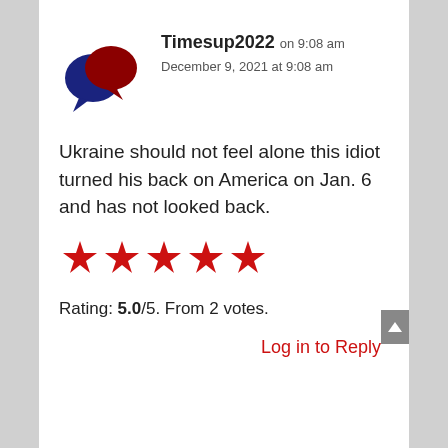[Figure (illustration): Two overlapping speech bubble icons, one navy blue and one dark red/crimson]
Timesup2022 on 9:08 am
December 9, 2021 at 9:08 am
Ukraine should not feel alone this idiot turned his back on America on Jan. 6 and has not looked back.
[Figure (infographic): Five red star rating icons]
Rating: 5.0/5. From 2 votes.
Log in to Reply